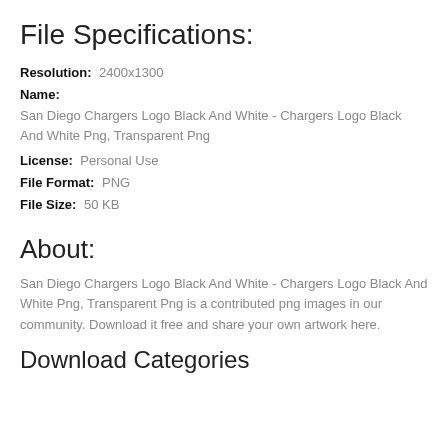File Specifications:
Resolution:   2400x1300
Name:
San Diego Chargers Logo Black And White - Chargers Logo Black And White Png, Transparent Png
License:   Personal Use
File Format:   PNG
File Size:   50 KB
About:
San Diego Chargers Logo Black And White - Chargers Logo Black And White Png, Transparent Png is a contributed png images in our community. Download it free and share your own artwork here.
Download Categories